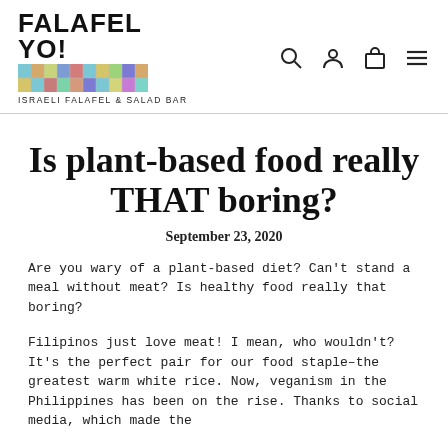FALAFEL YO! ISRAELI FALAFEL & SALAD BAR
Is plant-based food really THAT boring?
September 23, 2020
Are you wary of a plant-based diet? Can't stand a meal without meat? Is healthy food really that boring?
Filipinos just love meat! I mean, who wouldn't? It's the perfect pair for our food staple–the greatest warm white rice. Now, veganism in the Philippines has been on the rise. Thanks to social media, which made the